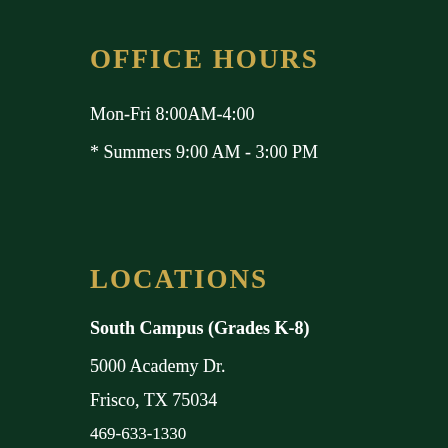OFFICE HOURS
Mon-Fri 8:00AM-4:00
* Summers 9:00 AM - 3:00 PM
LOCATIONS
South Campus (Grades K-8)
5000 Academy Dr.
Frisco, TX 75034
469-633-1330
North Campus (Upper School)
6525 Fighting Eagles Lane